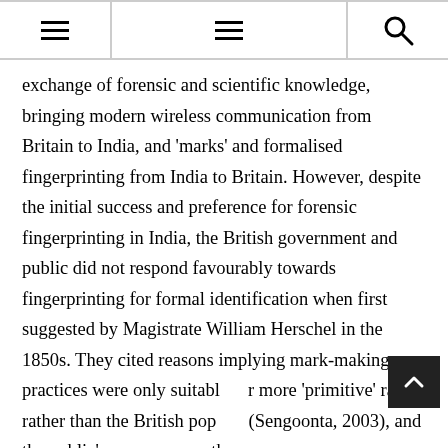≡  ≡  🔍
exchange of forensic and scientific knowledge, bringing modern wireless communication from Britain to India, and 'marks' and formalised fingerprinting from India to Britain. However, despite the initial success and preference for forensic fingerprinting in India, the British government and public did not respond favourably towards fingerprinting for formal identification when first suggested by Magistrate William Herschel in the 1850s. They cited reasons implying mark-making practices were only suitable for more 'primitive' races rather than the British pop... (Sengoonta, 2003), and the public's concern over the